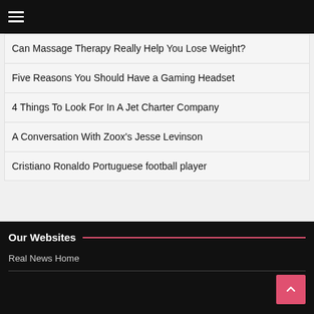≡
Can Massage Therapy Really Help You Lose Weight?
Five Reasons You Should Have a Gaming Headset
4 Things To Look For In A Jet Charter Company
A Conversation With Zoox's Jesse Levinson
Cristiano Ronaldo Portuguese football player
Our Websites
Real News Home